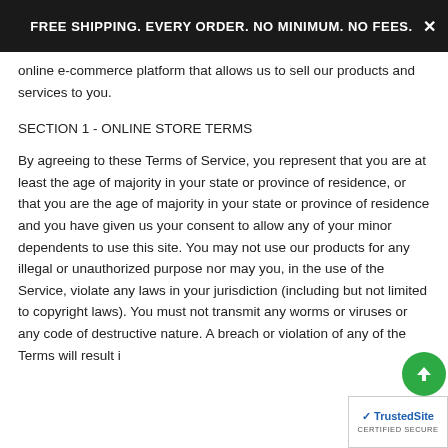FREE SHIPPING. EVERY ORDER. NO MINIMUM. NO FEES.
online e-commerce platform that allows us to sell our products and services to you.
SECTION 1 - ONLINE STORE TERMS
By agreeing to these Terms of Service, you represent that you are at least the age of majority in your state or province of residence, or that you are the age of majority in your state or province of residence and you have given us your consent to allow any of your minor dependents to use this site.
You may not use our products for any illegal or unauthorized purpose nor may you, in the use of the Service, violate any laws in your jurisdiction (including but not limited to copyright laws).
You must not transmit any worms or viruses or any code of destructive nature.
A breach or violation of any of the Terms will result i